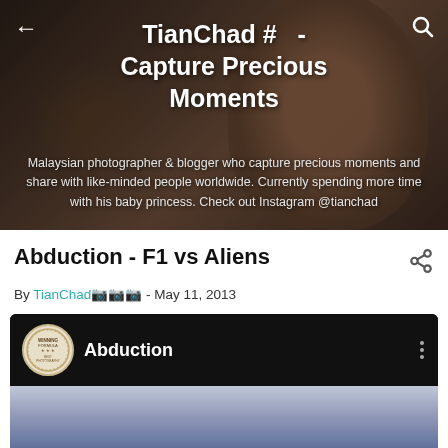TianChad # - Capture Precious Moments
Malaysian photographer & blogger who capture precious moments and share with like-minded people worldwide. Currently spending more time with his baby princess. Check out Instagram @tianchad
Abduction - F1 vs Aliens
By TianChad – May 11, 2013
[Figure (screenshot): Video card with Abduction channel logo and title, dark background with three-dot menu, and a cloudy sky thumbnail image below]